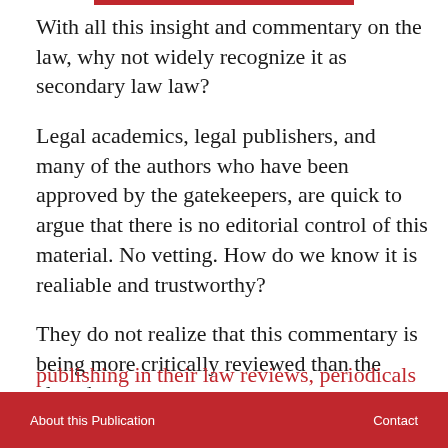With all this insight and commentary on the law, why not widely recognize it as secondary law law?
Legal academics, legal publishers, and many of the authors who have been approved by the gatekeepers, are quick to argue that there is no editorial control of this material. No vetting. How do we know it is realiable and trustworthy?
They do not realize that this commentary is being more critically reviewed than the closed publishing in their law reviews, periodicals and treatises.
About this Publication   Contact